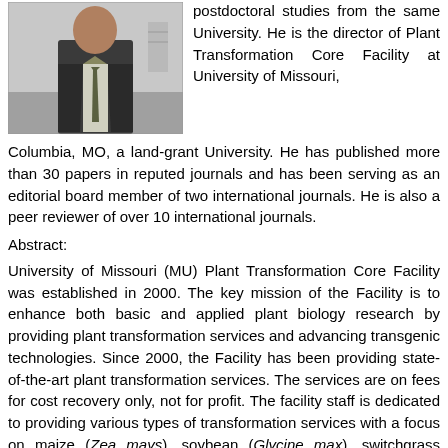[Figure (photo): Portrait photo of a man in a suit and tie, in a laboratory or office setting]
postdoctoral studies from the same University. He is the director of Plant Transformation Core Facility at University of Missouri, Columbia, MO, a land-grant University. He has published more than 30 papers in reputed journals and has been serving as an editorial board member of two international journals. He is also a peer reviewer of over 10 international journals.
Abstract:
University of Missouri (MU) Plant Transformation Core Facility was established in 2000. The key mission of the Facility is to enhance both basic and applied plant biology research by providing plant transformation services and advancing transgenic technologies. Since 2000, the Facility has been providing state-of-the-art plant transformation services. The services are on fees for cost recovery only, not for profit. The facility staff is dedicated to providing various types of transformation services with a focus on maize (Zea mays), soybean (Glycine max), switchgrass (Panicum virgatum), sorghum (Sorghum bicolor), wheat (Triticum